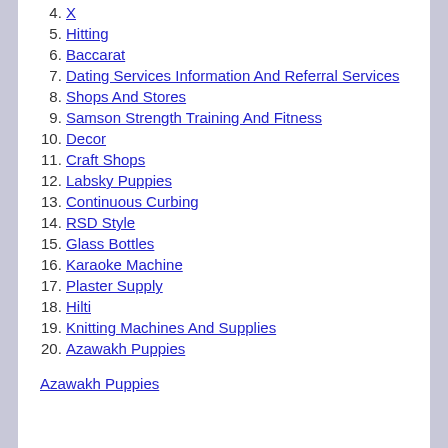4. X
5. Hitting
6. Baccarat
7. Dating Services Information And Referral Services
8. Shops And Stores
9. Samson Strength Training And Fitness
10. Decor
11. Craft Shops
12. Labsky Puppies
13. Continuous Curbing
14. RSD Style
15. Glass Bottles
16. Karaoke Machine
17. Plaster Supply
18. Hilti
19. Knitting Machines And Supplies
20. Azawakh Puppies
Azawakh Puppies